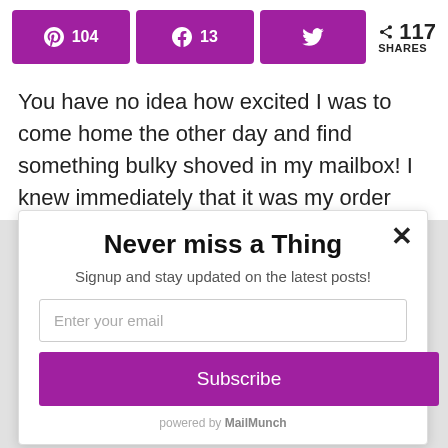[Figure (other): Social share bar with Pinterest (104), Facebook (13), Twitter buttons and 117 SHARES count]
You have no idea how excited I was to come home the other day and find something bulky shoved in my mailbox! I knew immediately that it was my order from...
Never miss a Thing
Signup and stay updated on the latest posts!
Enter your email
Subscribe
powered by MailMunch